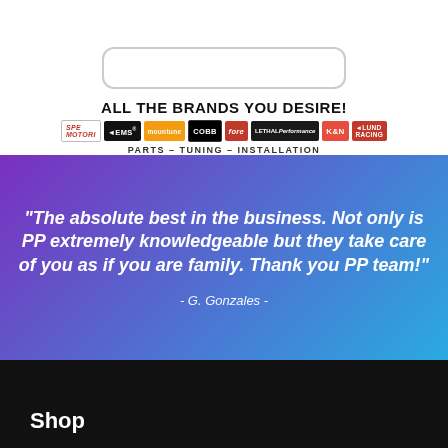[Figure (infographic): Rounded rectangle box outline at top (likely search or navigation bar placeholder)]
ALL THE BRANDS YOU DESIRE!
[Figure (infographic): Row of brand logos: SPE, EMS, mountune, COBB, fore, LETHAL Performance, K&N, Lund Racing]
PARTS – TUNING – INSTALLATION
"The absolute best in the business. Not only is PP extremely knowledgeable but they take care of you as if you are family. Thank you PP team!"
- G. Gonzales -
Shop